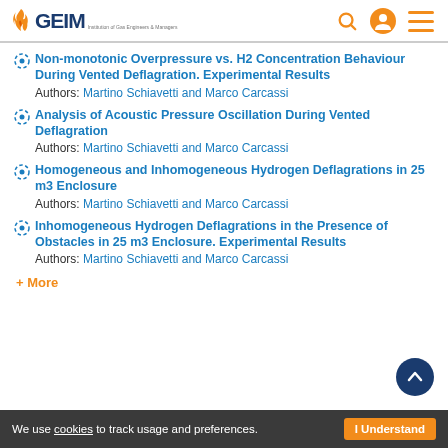IGEM header with logo, search, account, and menu icons
Non-monotonic Overpressure vs. H2 Concentration Behaviour During Vented Deflagration. Experimental Results
Authors: Martino Schiavetti and Marco Carcassi
Analysis of Acoustic Pressure Oscillation During Vented Deflagration
Authors: Martino Schiavetti and Marco Carcassi
Homogeneous and Inhomogeneous Hydrogen Deflagrations in 25 m3 Enclosure
Authors: Martino Schiavetti and Marco Carcassi
Inhomogeneous Hydrogen Deflagrations in the Presence of Obstacles in 25 m3 Enclosure. Experimental Results
Authors: Martino Schiavetti and Marco Carcassi
+ More
We use cookies to track usage and preferences. I Understand